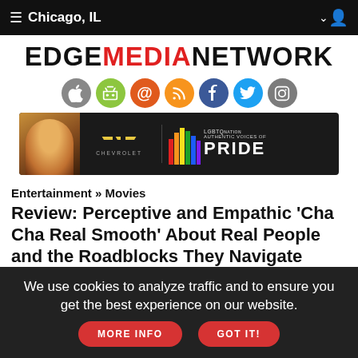≡ Chicago, IL ∨
EDGEMEDIANETWORK
[Figure (screenshot): Social media icon circles: Apple, Android, Email, RSS, Facebook, Twitter, Instagram]
[Figure (screenshot): Advertisement banner: Chevrolet / LGBTQ Nation Authentic Voices of Pride]
Entertainment » Movies
Review: Perceptive and Empathic 'Cha Cha Real Smooth' About Real People and the Roadblocks They Navigate
We use cookies to analyze traffic and to ensure you get the best experience on our website.
MORE INFO   GOT IT!